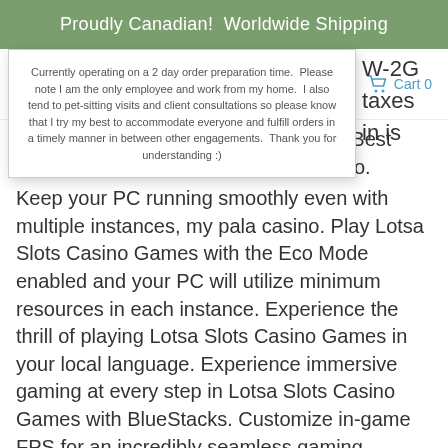Proudly Canadian!  Worldwide Shipping
[Figure (logo): Green Bunny logo with hamburger menu and Cart 0 text]
Currently operating on a 2 day order preparation time.  Please note I am the only employee and work from my home.  I also tend to pet-sitting visits and client consultations so please know that I try my best to accommodate everyone and fulfill orders in a timely manner in between other engagements.  Thank you for understanding :)
which will be reflected on your W-2G. Best Filipino Online Casinos, my pala casino.
Keep your PC running smoothly even with multiple instances, my pala casino. Play Lotsa Slots Casino Games with the Eco Mode enabled and your PC will utilize minimum resources in each instance. Experience the thrill of playing Lotsa Slots Casino Games in your local language. Experience immersive gaming at every step in Lotsa Slots Casino Games with BlueStacks. Customize in-game FPS for an incredibly seamless gaming performance.